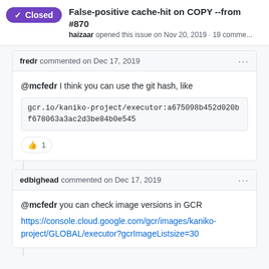False-positive cache-hit on COPY --from #870
haizaar opened this issue on Nov 20, 2019 · 19 comme...
fredr commented on Dec 17, 2019
@mcfedr I think you can use the git hash, like
gcr.io/kaniko-project/executor:a675098b452d020bf678063a3ac2d3be84b0e545
👍 1
edbighead commented on Dec 17, 2019
@mcfedr you can check image versions in GCR
https://console.cloud.google.com/gcr/images/kaniko-project/GLOBAL/executor?gcrImageListsize=30